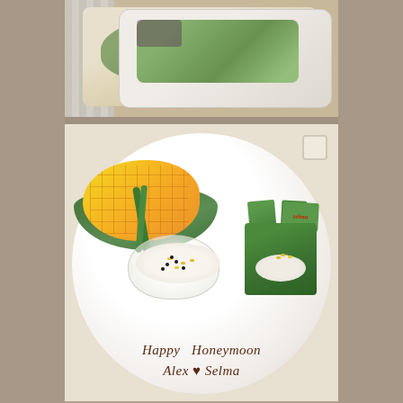[Figure (photo): Top portion: partial food photo showing a white dish with green food (possibly a salad or green curry) on a wooden surface with striped cloth.]
[Figure (photo): Bottom photo: A white plate with Thai mango sticky rice dessert. Cubed mango half on the left with green banana leaves, a glass bowl of white coconut sticky rice with black sesame seeds and yellow corn in the center, and a banana leaf box containing sticky rice on the right with a label that reads 'selma'. Written on the plate in chocolate sauce: 'Happy Honeymoon Alex ♥ Selma'.]